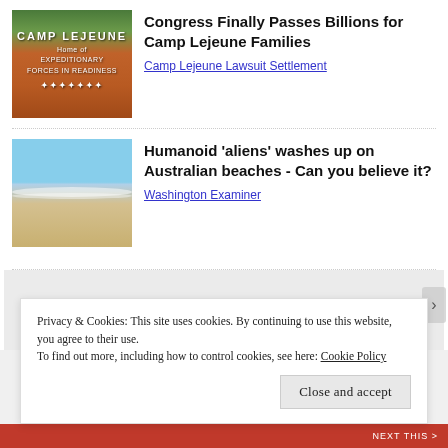[Figure (photo): Camp Lejeune entrance sign on brick wall with trees in background]
Congress Finally Passes Billions for Camp Lejeune Families
Camp Lejeune Lawsuit Settlement
[Figure (photo): Ocean beach with waves and sandy shore under blue sky]
Humanoid 'aliens' washes up on Australian beaches - Can you believe it?
Washington Examiner
Privacy & Cookies: This site uses cookies. By continuing to use this website, you agree to their use.
To find out more, including how to control cookies, see here: Cookie Policy
Close and accept